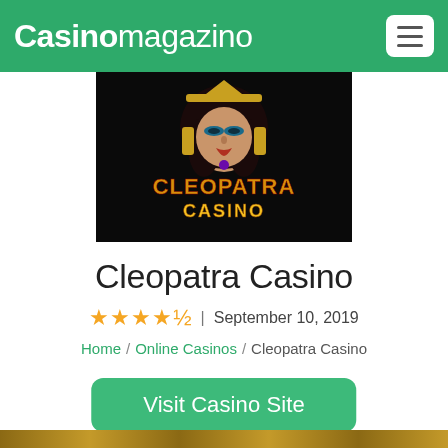Casinomagazino
[Figure (illustration): Cleopatra Casino game logo: dark background with an illustrated Cleopatra character and golden 'CLEOPATRA CASINO' text]
Cleopatra Casino
★★★★½ | September 10, 2019
Home / Online Casinos / Cleopatra Casino
Visit Casino Site